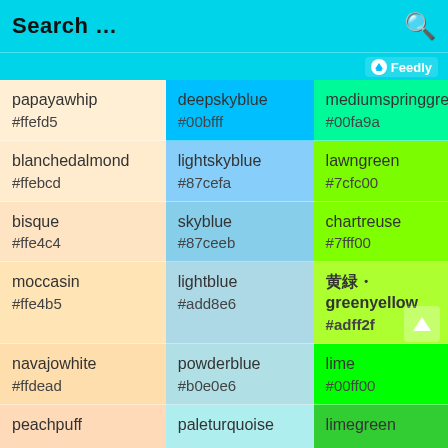Search …
| Name/Hex col1 | Name/Hex col2 | Name/Hex col3 |
| --- | --- | --- |
| papayawhip
#ffefd5 | deepskyblue
#00bfff | mediumspringgreen
#00fa9a |
| blanchedalmond
#ffebcd | lightskyblue
#87cefa | lawngreen
#7cfc00 |
| bisque
#ffe4c4 | skyblue
#87ceeb | chartreuse
#7fff00 |
| moccasin
#ffe4b5 | lightblue
#add8e6 | 黄緑・greenyellow
#adff2f |
| navajowhite
#ffdead | powderblue
#b0e0e6 | lime
#00ff00 |
| peachpuff | paleturquoise | limegreen |